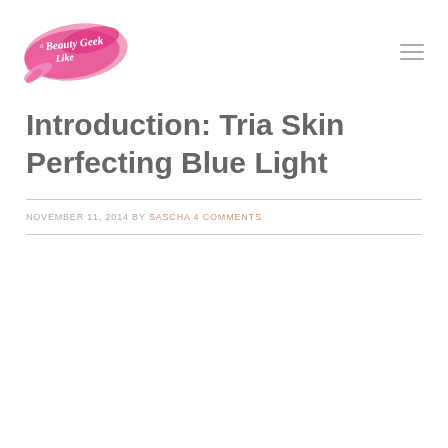[Figure (logo): Beauty Geek Like Me logo with pink brushstroke and cursive script text]
Introduction: Tria Skin Perfecting Blue Light
NOVEMBER 11, 2014 BY SASCHA 4 COMMENTS